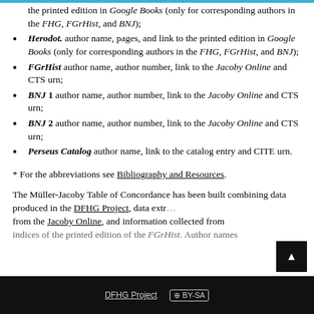the printed edition in Google Books (only for corresponding authors in the FHG, FGrHist, and BNJ);
Herodot. author name, pages, and link to the printed edition in Google Books (only for corresponding authors in the FHG, FGrHist, and BNJ);
FGrHist author name, author number, link to the Jacoby Online and CTS urn;
BNJ 1 author name, author number, link to the Jacoby Online and CTS urn;
BNJ 2 author name, author number, link to the Jacoby Online and CTS urn;
Perseus Catalog author name, link to the catalog entry and CITE urn.
* For the abbreviations see Bibliography and Resources.
The Müller-Jacoby Table of Concordance has been built combining data produced in the DFHG Project, data extracted from the Jacoby Online, and information collected from the indices of the printed edition of the FGrHist. Author names...
DFHG Project  CC BY-SA